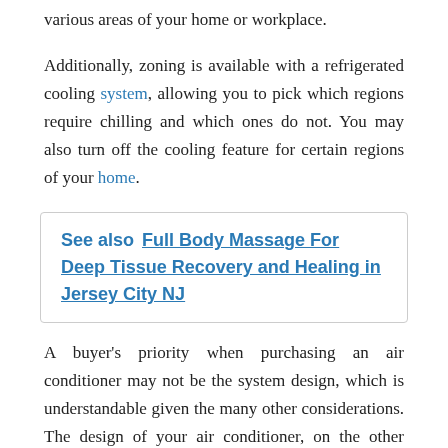various areas of your home or workplace.
Additionally, zoning is available with a refrigerated cooling system, allowing you to pick which regions require chilling and which ones do not. You may also turn off the cooling feature for certain regions of your home.
See also  Full Body Massage For Deep Tissue Recovery and Healing in Jersey City NJ
A buyer's priority when purchasing an air conditioner may not be the system design, which is understandable given the many other considerations. The design of your air conditioner, on the other hand, has a much impact on the quantity of space you have